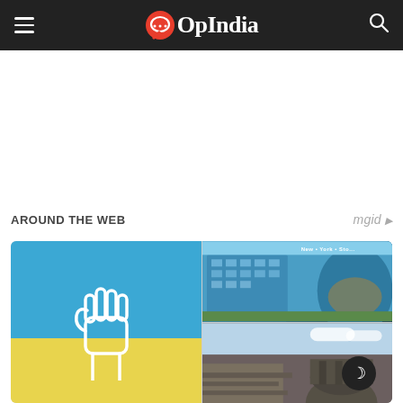OpIndia
AROUND THE WEB
[Figure (screenshot): OpIndia website screenshot showing navigation bar, blank ad space, 'Around the Web' section header with mgid attribution, and a 2x2 image grid: top-left shows Ukraine flag colors with raised fist illustration, top-right shows New York Store building photo, bottom-right shows ruins/stone structure photo]